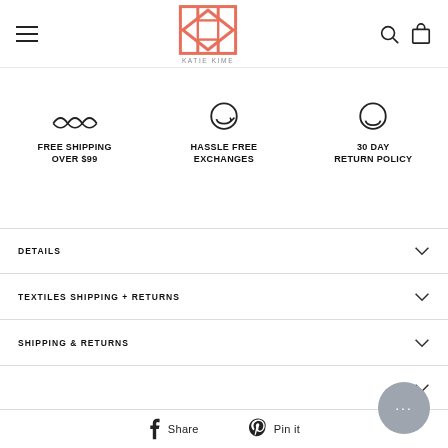KATIE KIME (logo, hamburger menu, search, cart)
[Figure (infographic): Three benefit icons: truck/shipping icon, exchange icon, return policy icon]
FREE SHIPPING OVER $99
HASSLE FREE EXCHANGES
30 DAY RETURN POLICY
DETAILS
TEXTILES SHIPPING + RETURNS
SHIPPING & RETURNS
Share  Pin it